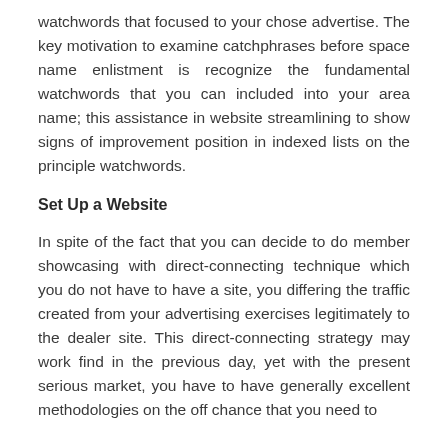watchwords that focused to your chose advertise. The key motivation to examine catchphrases before space name enlistment is recognize the fundamental watchwords that you can included into your area name; this assistance in website streamlining to show signs of improvement position in indexed lists on the principle watchwords.
Set Up a Website
In spite of the fact that you can decide to do member showcasing with direct-connecting technique which you do not have to have a site, you differing the traffic created from your advertising exercises legitimately to the dealer site. This direct-connecting strategy may work find in the previous day, yet with the present serious market, you have to have generally excellent methodologies on the off chance that you need to